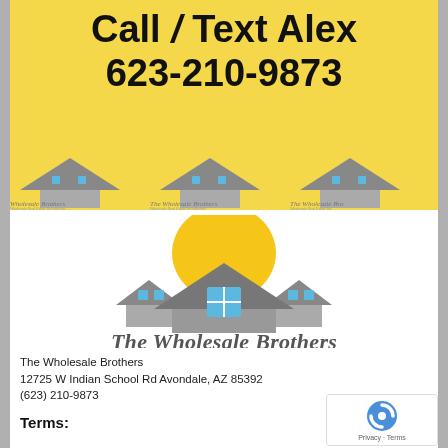Call / Text Alex
623-210-9873
[Figure (logo): The Wholesale Brothers logo with yellow sun, gray house rooftop silhouette, blue windows, company name and tagline]
The Wholesale Brothers
12725 W Indian School Rd Avondale, AZ 85392
(623) 210-9873
Terms: